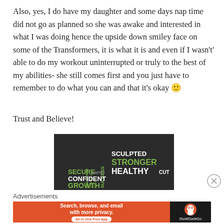Also, yes, I do have my daughter and some days nap time did not go as planned so she was awake and interested in what I was doing hence the upside down smiley face on some of the Transformers, it is what it is and even if I wasn't' able to do my workout uninterrupted or truly to the best of my abilities- she still comes first and you just have to remember to do what you can and that it's okay 🙂
Trust and Believe!
[Figure (infographic): Word cloud on dark background with fitness/motivational words: SCULPTED, STRONGER, HEALTHY, SECURE, CONFIDENT, GROWTH, SUCCESS, HAPPY, FOCUS, GRATEFUL, LEADERSHIP, CUT]
Advertisements
[Figure (infographic): DuckDuckGo advertisement banner: orange background with text 'Search, browse, and email with more privacy. All in One Free App' and DuckDuckGo duck logo on dark background]